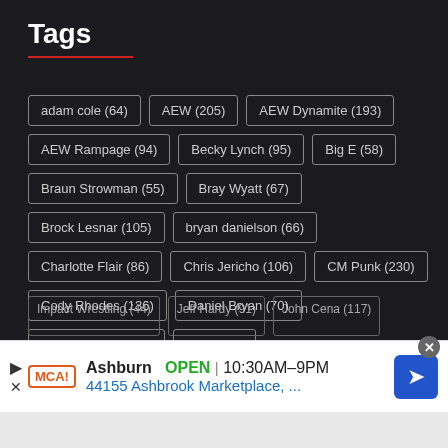Tags
adam cole (64)
AEW (205)
AEW Dynamite (193)
AEW Rampage (94)
Becky Lynch (95)
Big E (58)
Braun Strowman (55)
Bray Wyatt (67)
Brock Lesnar (105)
bryan danielson (66)
Charlotte Flair (86)
Chris Jericho (106)
CM Punk (230)
Cody Rhodes (136)
Daniel Bryan (70)
Drew McIntyre (58)
Edge (60)
Impact Wrestling (44)
Jeff Hardy (91)
John Cena (117)
[Figure (screenshot): Advertisement banner showing MCA store in Ashburn with OPEN status, hours 10:30AM-9PM, address 44155 Ashbrook Marketplace, and a blue navigation arrow icon]